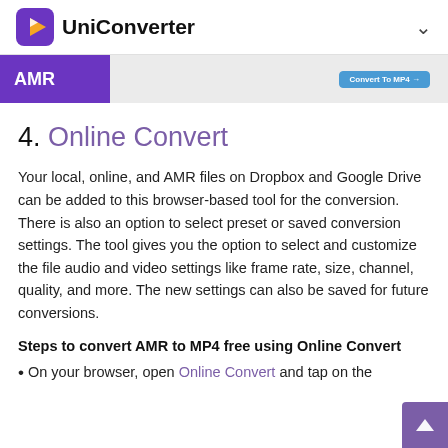UniConverter
[Figure (screenshot): Screenshot strip showing a gray input area with a blue 'Convert To MP4 →' button, and a purple 'AMR' label on the left]
4. Online Convert
Your local, online, and AMR files on Dropbox and Google Drive can be added to this browser-based tool for the conversion. There is also an option to select preset or saved conversion settings. The tool gives you the option to select and customize the file audio and video settings like frame rate, size, channel, quality, and more. The new settings can also be saved for future conversions.
Steps to convert AMR to MP4 free using Online Convert
On your browser, open Online Convert and tap on the